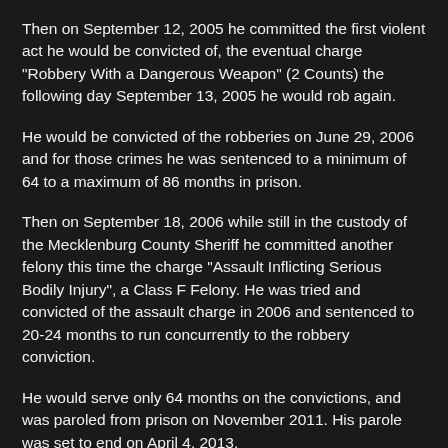Then on September 12, 2005 he committed the first violent act he would be convicted of, the eventual charge "Robbery With a Dangerous Weapon" (2 Counts) the following day September 13, 2005 he would rob again.
He would be convicted of the robberies on June 29, 2006 and for those crimes he was sentenced to a minimum of 64 to a maximum of 86 months in prison.
Then on September 18, 2006 while still in the custody of the Mecklenburg County Sheriff he committed another felony this time the charge "Assault Inflicting Serious Bodily Injury", a Class F Felony. He was tried and convicted of the assault charge in 2006 and sentenced to 20-24 months to run concurrently to the robbery conviction.
He would serve only 64 months on the convictions, and was paroled from prison on November 2011. His parole was set to end on April 4, 2013.
But six months after his release his crime spree would